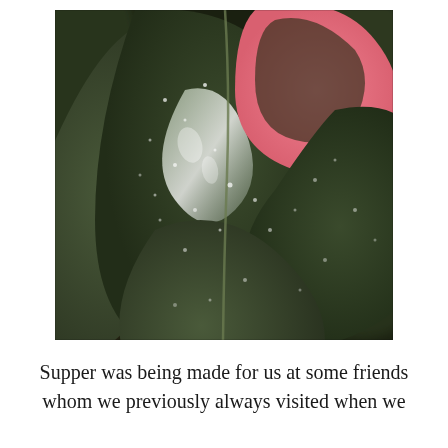[Figure (photo): Close-up photograph of dark green tropical plant leaves with water droplets and white speckles. One leaf has a striking pink and white variegation pattern. The leaves appear glossy and wet, with multiple overlapping large rounded leaves filling the frame.]
Supper was being made for us at some friends whom we previously always visited when we